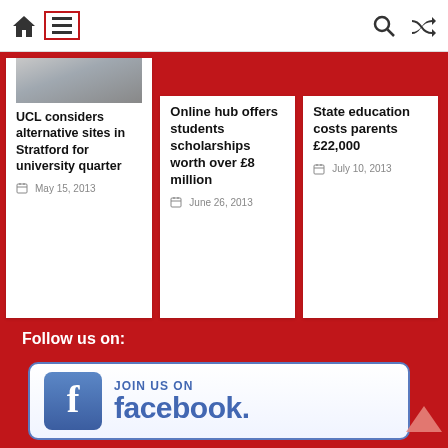[Figure (screenshot): Website navigation bar with home icon, hamburger menu icon (highlighted with red border), search icon, and shuffle icon]
[Figure (photo): Partial image of people at top of first news card]
UCL considers alternative sites in Stratford for university quarter
May 15, 2013
Online hub offers students scholarships worth over £8 million
June 26, 2013
State education costs parents £22,000
July 10, 2013
Follow us on:
[Figure (logo): Facebook 'Join Us On facebook' button/badge with Facebook logo icon]